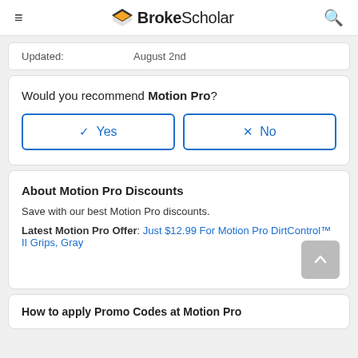BrokeScholar
Updated: August 2nd
Would you recommend Motion Pro?
Yes
No
About Motion Pro Discounts
Save with our best Motion Pro discounts.
Latest Motion Pro Offer: Just $12.99 For Motion Pro DirtControl™ II Grips, Gray